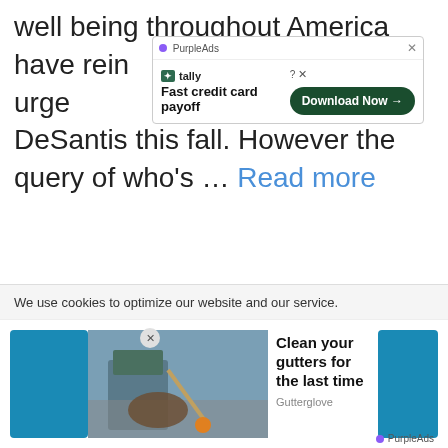well being throughout America have reinforced the urge on DeSantis this fall. However the query of who's ... Read more
[Figure (screenshot): PurpleAds advertisement overlay showing Tally 'Fast credit card payoff' app with a green Download Now button]
News
abortion, abortion rights, charlie crist, continents and regions, Decide, democrats, DeSantis, elections (by type), elections and
We use cookies to optimize our website and our service.
[Figure (photo): Ad showing a person cleaning gutters, with headline 'Clean your gutters for the last time' and brand 'Gutterglove', with PurpleAds label]